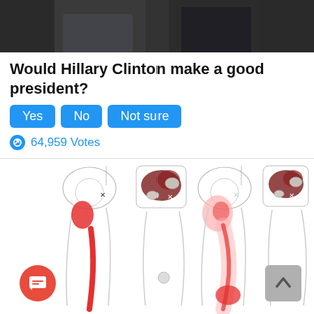[Figure (photo): Top portion of a photo showing two people, cropped at torso/shoulder level, dark clothing, dark background]
Would Hillary Clinton make a good president?
Yes | No | Not sure (poll buttons)
64,959 Votes
[Figure (medical-diagram): Medical illustration showing four views of hip and leg anatomy with red highlighted pain/referred pain areas along the outer hip, thigh, and lower leg. Two pairs showing side and cross-section views with dark red muscle and lighter red referred pain zones extending down the lateral thigh and lower leg.]